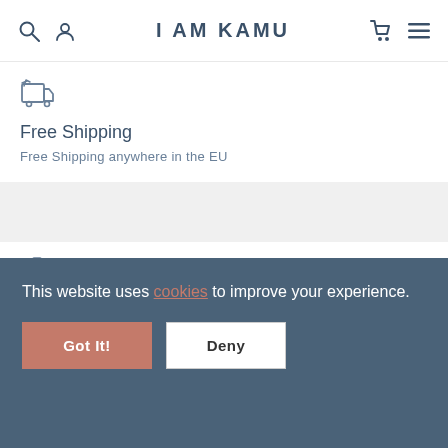I AM KAMU
Free Shipping
Free Shipping anywhere in the EU
24 month warranty
On all our watches
This website uses cookies to improve your experience.